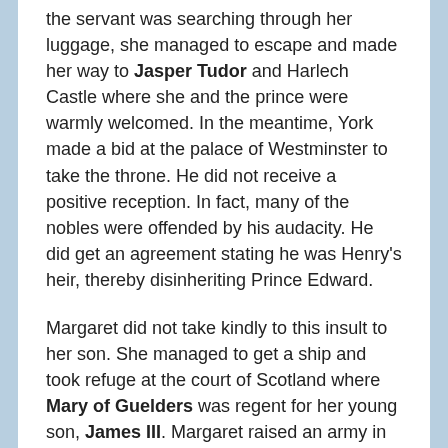the servant was searching through her luggage, she managed to escape and made her way to Jasper Tudor and Harlech Castle where she and the prince were warmly welcomed. In the meantime, York made a bid at the palace of Westminster to take the throne. He did not receive a positive reception. In fact, many of the nobles were offended by his audacity. He did get an agreement stating he was Henry's heir, thereby disinheriting Prince Edward.
Margaret did not take kindly to this insult to her son. She managed to get a ship and took refuge at the court of Scotland where Mary of Guelders was regent for her young son, James III. Margaret raised an army in the north and met York and his men at Wakefield on December 31, 1460. York and his son Edmund were killed.